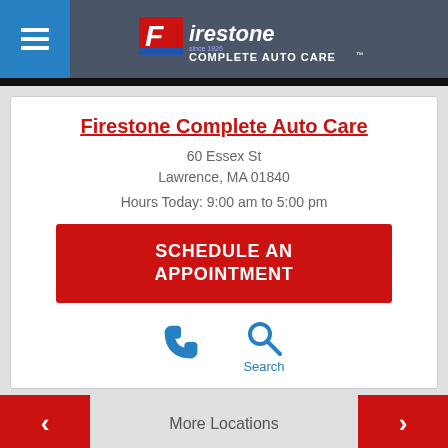[Figure (logo): Firestone Complete Auto Care logo with hamburger menu icon on blue background, logo centered on dark gray header]
Firestone Complete Auto Care
60 Essex St
Lawrence, MA 01840
Hours Today: 9:00 am to 5:00 pm
SCHEDULE AN APPOINTMENT
[Figure (illustration): Phone icon (blue) and Search icon (blue) with label 'Search']
More Locations
Tire Offers